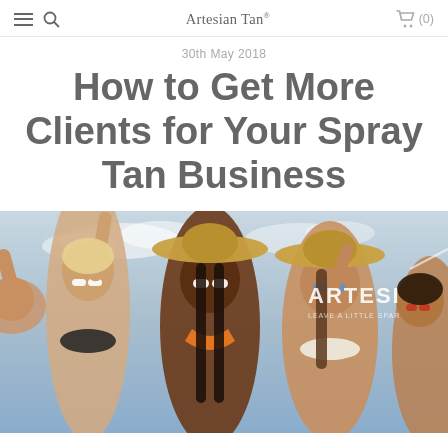Artesian Tan®  (0)
30th May 2018
How to Get More Clients for Your Spray Tan Business
[Figure (photo): Group of tanned women in swimwear and sunglasses posing outdoors, with Artesian Tan branding visible in the background. Women are wearing various bikinis and sun hats in a beach/summer setting.]